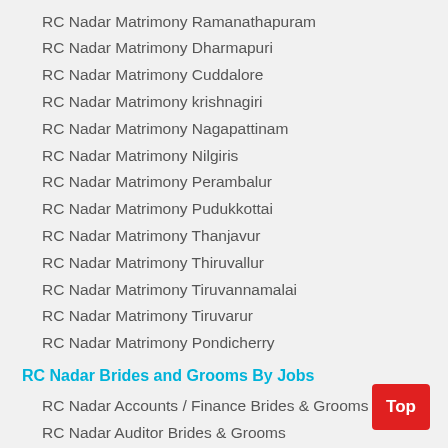RC Nadar Matrimony Ramanathapuram
RC Nadar Matrimony Dharmapuri
RC Nadar Matrimony Cuddalore
RC Nadar Matrimony krishnagiri
RC Nadar Matrimony Nagapattinam
RC Nadar Matrimony Nilgiris
RC Nadar Matrimony Perambalur
RC Nadar Matrimony Pudukkottai
RC Nadar Matrimony Thanjavur
RC Nadar Matrimony Thiruvallur
RC Nadar Matrimony Tiruvannamalai
RC Nadar Matrimony Tiruvarur
RC Nadar Matrimony Pondicherry
RC Nadar Brides and Grooms By Jobs
RC Nadar Accounts / Finance Brides & Grooms
RC Nadar Auditor Brides & Grooms
RC Nadar Banking and Finance Brides & Grooms
RC Nadar Banking Service Brides & Grooms